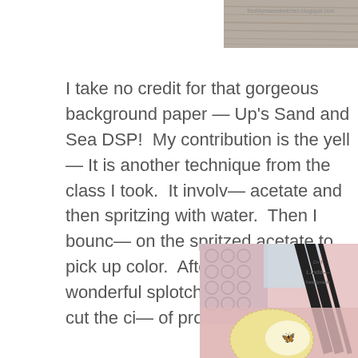[Figure (photo): Top image showing a wood grain background paper with a watermark URL 'freshlymacesketches.blogspot.com' visible. Only the bottom portion of the image is visible, cropped at the top of the page.]
I take no credit for that gorgeous background paper — Up's Sand and Sea DSP!  My contribution is the yell— It is another technique from the class I took.  It involv— acetate and then spritzing with water.  Then I bounc— on the spritzed acetate to pick up color.  After it dried those wonderful splotches of color and die cut the ci— of project!
[Figure (photo): Bottom right image showing a handmade card with pink/floral patterned paper background, a striped black and white ribbon element, and a circular yellow and white design featuring a butterfly stamp image. Partial watermark with 'Linda' and 'freshlymade' visible.]